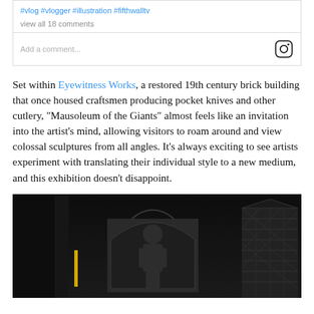#vlog #vlogger #illustration #fifthwalltv
view all 18 comments
Add a comment...
Set within Eyewitness Works, a restored 19th century brick building that once housed craftsmen producing pocket knives and other cutlery, “Mausoleum of the Giants” almost feels like an invitation into the artist’s mind, allowing visitors to roam around and view colossal sculptures from all angles. It’s always exciting to see artists experiment with translating their individual style to a new medium, and this exhibition doesn’t disappoint.
[Figure (photo): Dark interior photograph of an industrial building showing large sculpted figures, an archway with artwork, and a brick structure on the right with a yellow vertical element in the foreground.]